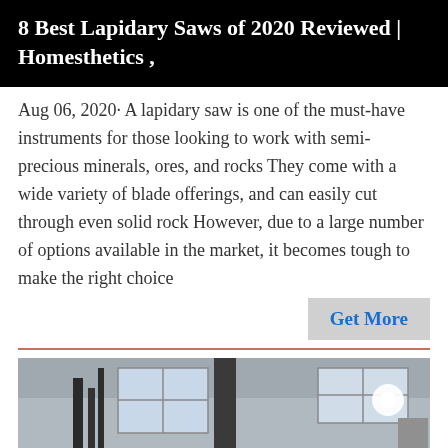8 Best Lapidary Saws of 2020 Reviewed | Homesthetics ,
Aug 06, 2020· A lapidary saw is one of the must-have instruments for those looking to work with semi-precious minerals, ores, and rocks They come with a wide variety of blade offerings, and can easily cut through even solid rock However, due to a large number of options available in the market, it becomes tough to make the right choice
Get More
[Figure (photo): Industrial machinery or equipment in a workshop or factory setting with windows, pipes, and a large cylindrical black tank or boiler with orange accents.]